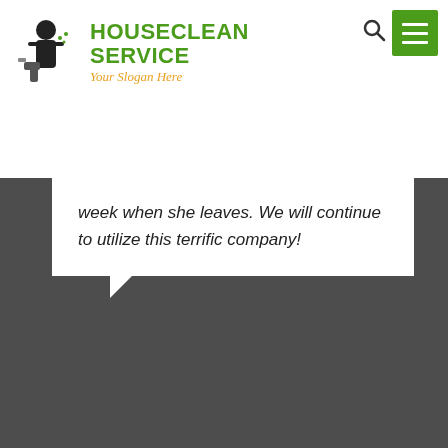[Figure (logo): HouseClean Service logo with spray bottle icon, green bold text 'HOUSECLEAN SERVICE' and orange italic slogan 'Your Slogan Here']
week when she leaves. We will continue to utilize this terrific company!
Robert Ackerman
June 27, 2018
We Also Provide End Of Lease House Cleaning Services In The Following Suburbs
End Of Lease House Cleaning In Downer
End Of Lease House Cleaning In Canberra